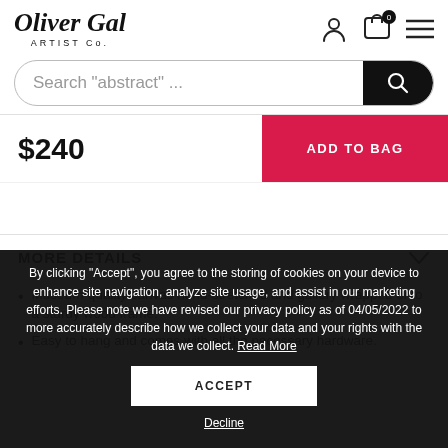Oliver Gal ARTIST Co.
Search "abstract" ...
$240
ADD TO BAG
MORE DETAILS
By clicking “Accept”, you agree to the storing of cookies on your device to enhance site navigation, analyze site usage, and assist in our marketing efforts. Please note we have revised our privacy policy as of 04/05/2022 to more accurately describe how we collect your data and your rights with the data we collect. Read More
Museum-quality canvas hand-stretched and gallery wrapped onto a sturdy wood frame.
Easy to hang and comes with all the necessary hardware.
ACCEPT
Decline